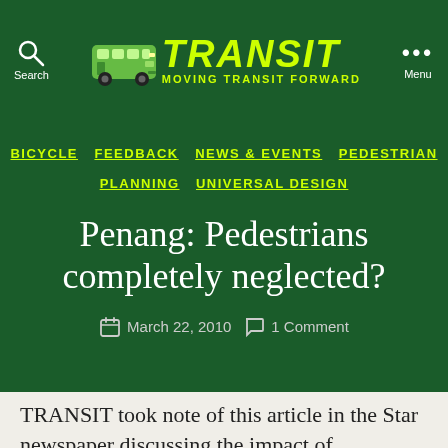[Figure (logo): TRANSIT - Moving Transit Forward logo with bus graphic, search icon on left, menu dots on right]
BICYCLE
FEEDBACK
NEWS & EVENTS
PEDESTRIAN
PLANNING
UNIVERSAL DESIGN
Penang: Pedestrians completely neglected?
March 22, 2010   1 Comment
TRANSIT took note of this article in the Star newspaper discussing the impact of automobile-